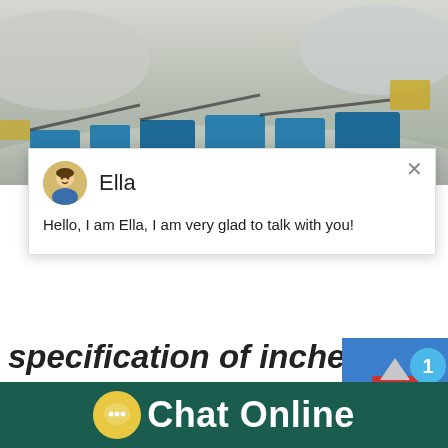[Figure (photo): Aerial view of a quarry site with blue mobile crushing machines and equipment spread across a dusty gravel area.]
[Figure (screenshot): Chat popup with avatar of agent named Ella saying: Hello, I am Ella, I am very glad to talk with you!]
specification of inches jaw c...
QJ331 jaw crusher echnical specification s... jaw crusher. echnical specification sheetT... crusher further develops the very latest tec... within the Premium range of mobile jaw c...
[Figure (photo): White and red cone crusher machine on right side of page with blue badge showing number 1 and Click me to chat>> button.]
Chat Online